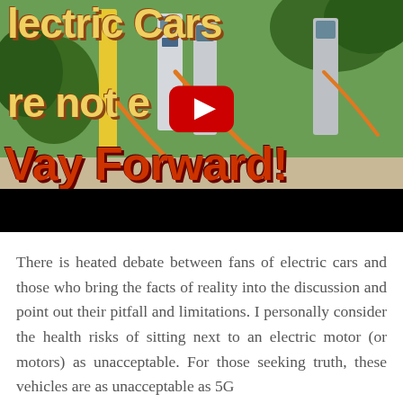[Figure (screenshot): YouTube video thumbnail showing electric vehicle charging stations with overlaid text: 'Electric Cars are not the Way Forward!' with a YouTube play button in the center. Text appears in yellow and red bold fonts over a photo of EV charging stations outdoors.]
There is heated debate between fans of electric cars and those who bring the facts of reality into the discussion and point out their pitfall and limitations. I personally consider the health risks of sitting next to an electric motor (or motors) as unacceptable. For those seeking truth, these vehicles are as unacceptable as 5G